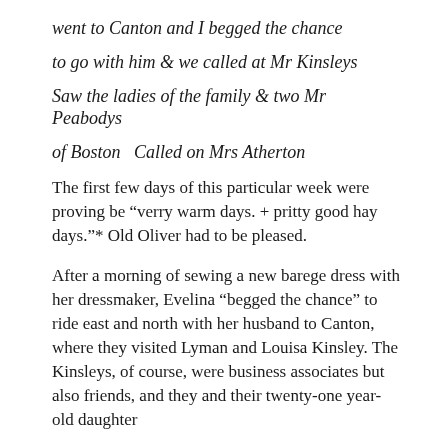went to Canton and I begged the chance

to go with him & we called at Mr Kinsleys

Saw the ladies of the family & two Mr Peabodys

of Boston  Called on Mrs Atherton
The first few days of this particular week were proving be “verry warm days. + pritty good hay days.”* Old Oliver had to be pleased.
After a morning of sewing a new barege dress with her dressmaker, Evelina “begged the chance” to ride east and north with her husband to Canton, where they visited Lyman and Louisa Kinsley. The Kinsleys, of course, were business associates but also friends, and they and their twenty-one year-old daughter